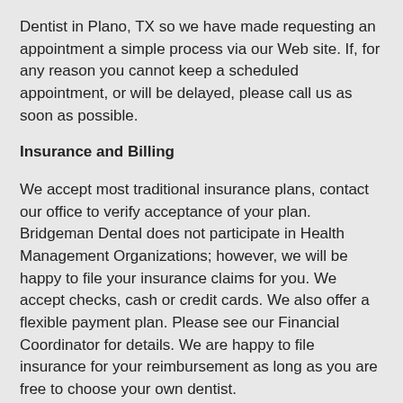Dentist in Plano, TX so we have made requesting an appointment a simple process via our Web site. If, for any reason you cannot keep a scheduled appointment, or will be delayed, please call us as soon as possible.
Insurance and Billing
We accept most traditional insurance plans, contact our office to verify acceptance of your plan. Bridgeman Dental does not participate in Health Management Organizations; however, we will be happy to file your insurance claims for you. We accept checks, cash or credit cards. We also offer a flexible payment plan. Please see our Financial Coordinator for details. We are happy to file insurance for your reimbursement as long as you are free to choose your own dentist.
In Office Dental Plan